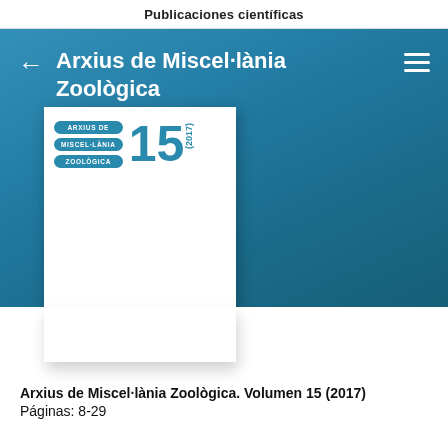Publicaciones científicas
Arxius de Miscel·lània Zoològica
[Figure (other): Cover image of Arxius de Miscel·lània Zoològica journal volume 15 (2017), showing the journal logo with teal pill-shaped labels reading ARXIUS DE MISCEL·LÀNIA ZOOLÒGICA, large number 15 and (2017) in teal, on a white background.]
Arxius de Miscel·lània Zoològica. Volumen 15 (2017)
Páginas: 8-29